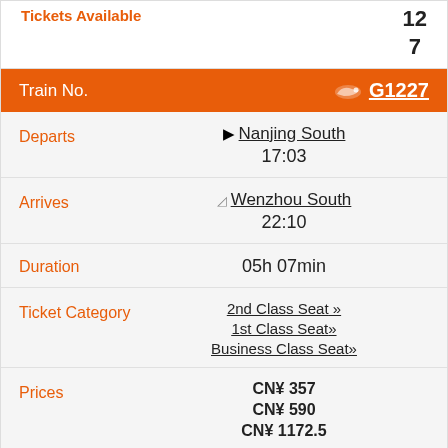Tickets Available   12
7
| Field | Value |
| --- | --- |
| Train No. | G1227 |
| Departs | Nanjing South 17:03 |
| Arrives | Wenzhou South 22:10 |
| Duration | 05h 07min |
| Ticket Category | 2nd Class Seat »
1st Class Seat»
Business Class Seat» |
| Prices | CN¥ 357
CN¥ 590
CN¥ 1172.5 |